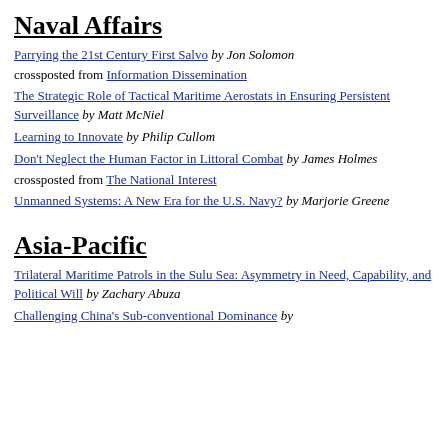Naval Affairs
Parrying the 21st Century First Salvo by Jon Solomon
crossposted from Information Dissemination
The Strategic Role of Tactical Maritime Aerostats in Ensuring Persistent Surveillance by Matt McNiel
Learning to Innovate by Philip Cullom
Don't Neglect the Human Factor in Littoral Combat by James Holmes
crossposted from The National Interest
Unmanned Systems: A New Era for the U.S. Navy? by Marjorie Greene
Asia-Pacific
Trilateral Maritime Patrols in the Sulu Sea: Asymmetry in Need, Capability, and Political Will by Zachary Abuza
Challenging China's Sub-conventional Dominance by